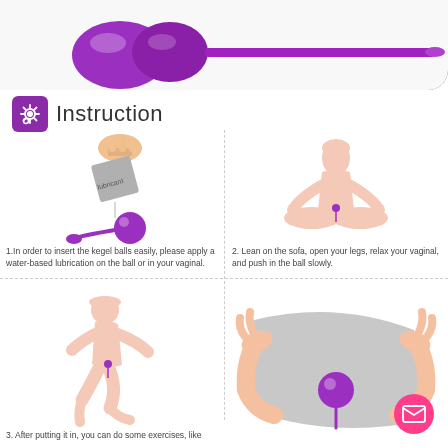[Figure (photo): Purple kegel balls product image at top of page]
Instruction
[Figure (illustration): Step 1: Hand squeezing lubricant packet onto kegel ball with string]
[Figure (illustration): Step 2: Silhouette of person sitting in meditation pose with ball inserted]
1.In order to insert the kegel balls easily, please apply a water-based lubrication on the ball or in your vaginal.
2. Lean on the sofa, open your legs, relax your vaginal, and push in the ball slowly.
[Figure (illustration): Step 3: Silhouette of person running/jogging with ball inserted]
[Figure (illustration): Step 4: Hands holding/cleaning the kegel ball with cloth]
3. After putting it in, you can do some exercises, like